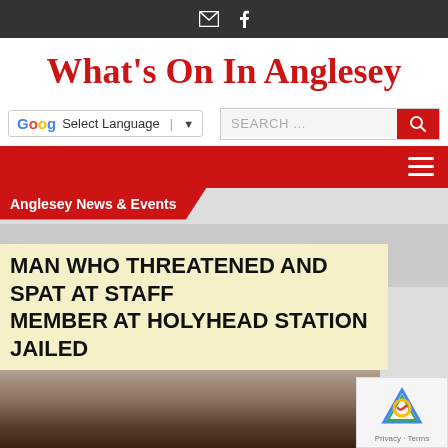✉ f
What's On In Anglesey
Select Language ▼   SEARCH ...
Anglesey News & Events
This website uses cookies to ensure you get the best experience on our website.
MAN WHO THREATENED AND SPAT AT STAFF MEMBER AT HOLYHEAD STATION JAILED
[Figure (photo): Partial photo of a person's face, cropped at bottom of page]